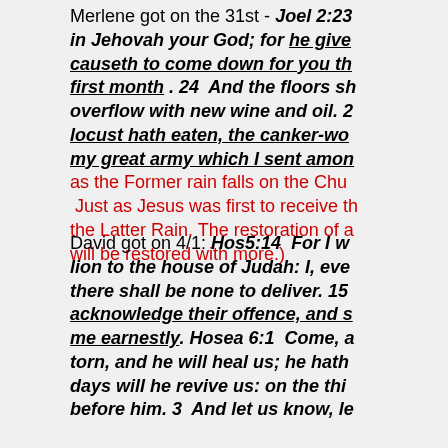Merlene got on the 31st - Joel 2:23 in Jehovah your God; for he give causeth to come down for you th first month . 24 And the floors sh overflow with new wine and oil. 2 locust hath eaten, the canker-wo my great army which I sent amon as the Former rain falls on the Chu Just as Jesus was first to receive t the Latter Rain. The restoration of a will be restored with more.)
David got on 4/1: Hos5:14 For I w lion to the house of Judah: I, eve there shall be none to deliver. 15 acknowledge their offence, and s me earnestly. Hosea 6:1 Come, a torn, and he will heal us; he hath days will he revive us: on the thi before him. 3 And let us know, le